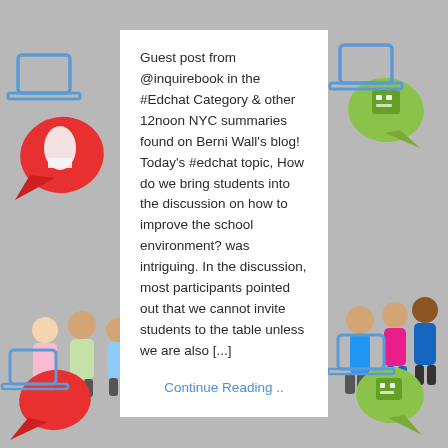[Figure (illustration): Background image with children, speech bubbles (red rocket, green robot), and blue laptop icons on gray background]
Guest post from @inquirebook in the #Edchat Category & other 12noon NYC summaries found on Berni Wall's blog! Today's #edchat topic, How do we bring students into the discussion on how to improve the school environment? was intriguing. In the discussion, most participants pointed out that we cannot invite students to the table unless we are also [...]
Continue Reading ..